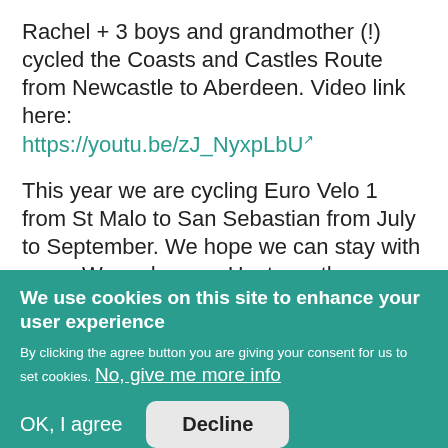Rachel + 3 boys and grandmother (!) cycled the Coasts and Castles Route from Newcastle to Aberdeen. Video link here: https://youtu.be/zJ_NyxpLbU
This year we are cycling Euro Velo 1 from St Malo to San Sebastian from July to September. We hope we can stay with some Warmshowers Hosts on the way. As there are a lot of us we hope we can camp
We use cookies on this site to enhance your user experience
By clicking the agree button you are giving your consent for us to set cookies. No, give me more info
OK, I agree
Decline